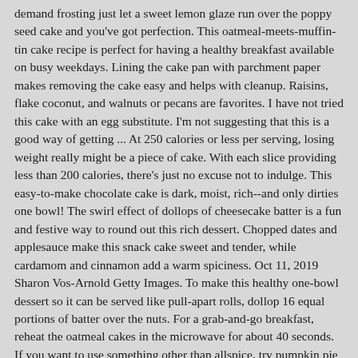demand frosting  just let a sweet lemon glaze run over the poppy seed cake and you've got perfection. This oatmeal-meets-muffin-tin cake recipe is perfect for having a healthy breakfast available on busy weekdays. Lining the cake pan with parchment paper makes removing the cake easy and helps with cleanup. Raisins, flake coconut, and walnuts or pecans are favorites. I have not tried this cake with an egg substitute. I'm not suggesting that this is a good way of getting ... At 250 calories or less per serving, losing weight really might be a piece of cake. With each slice providing less than 200 calories, there's just no excuse not to indulge. This easy-to-make chocolate cake is dark, moist, rich--and only dirties one bowl! The swirl effect of dollops of cheesecake batter is a fun and festive way to round out this rich dessert. Chopped dates and applesauce make this snack cake sweet and tender, while cardamom and cinnamon add a warm spiciness. Oct 11, 2019 Sharon Vos-Arnold Getty Images. To make this healthy one-bowl dessert so it can be served like pull-apart rolls, dollop 16 equal portions of batter over the nuts. For a grab-and-go breakfast, reheat the oatmeal cakes in the microwave for about 40 seconds. If you want to use something other than allspice, try pumpkin pie spice or cinnamon in the filling. Randy Mayor; Lydia DeGaris-Pursell, Credit: Randy Mayor; Fonda Shaia, Credit: In this moist and delicious healthy pound cake recipe,